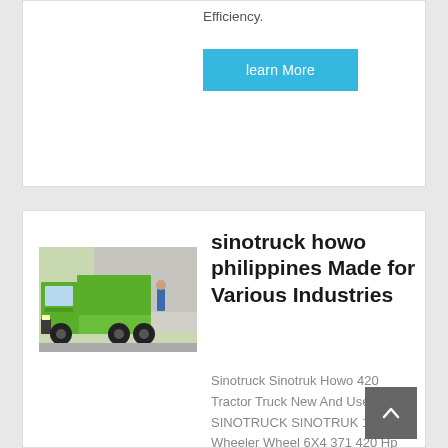Efficiency.
learn More
[Figure (photo): Green Sinotruck Howo dump truck parked in a warehouse or loading area]
sinotruck howo philippines Made for Various Industries
Sinotruck Sinotruk Howo 420 Tractor Truck New And Used SINOTRUCK SINOTRUK 10 Wheeler Wheel 6X4 371 420 Hp HOWO A7 Trailer Tractor Truck Head. $3,000.00-$6,000.00/ Unit. 1 Unit (Min. Order) CN Shandong Chengda Machinery Co. Limited. 4 YRS